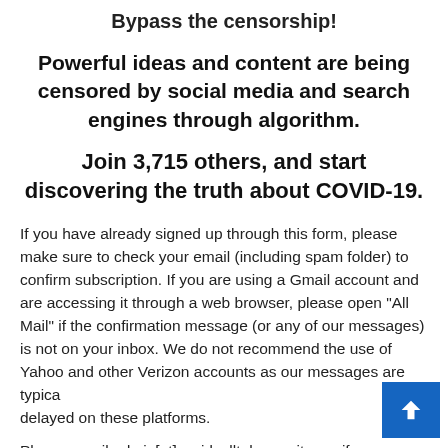Bypass the censorship!
Powerful ideas and content are being censored by social media and search engines through algorithm.
Join 3,715 others, and start discovering the truth about COVID-19.
If you have already signed up through this form, please make sure to check your email (including spam folder) to confirm subscription. If you are using a Gmail account and are accessing it through a web browser, please open "All Mail" if the confirmation message (or any of our messages) is not on your inbox. We do not recommend the use of Yahoo and other Verizon accounts as our messages are typically delayed on these platforms.
Please email admin[at]covidcalltohumanity.org if you